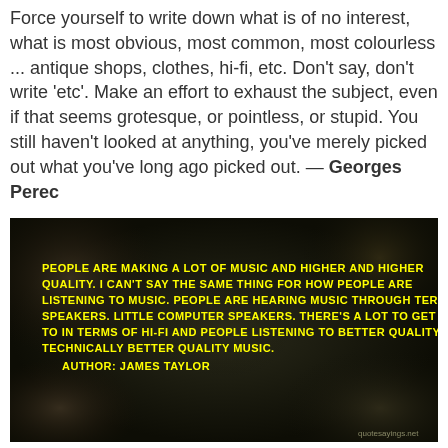Force yourself to write down what is of no interest, what is most obvious, most common, most colourless ... antique shops, clothes, hi-fi, etc. Don't say, don't write 'etc'. Make an effort to exhaust the subject, even if that seems grotesque, or pointless, or stupid. You still haven't looked at anything, you've merely picked out what you've long ago picked out. — Georges Perec
[Figure (photo): Dark background image with blurred figures, overlaid with yellow bold uppercase text: 'PEOPLE ARE MAKING A LOT OF MUSIC AND HIGHER AND HIGHER QUALITY. I CAN'T SAY THE SAME THING FOR HOW PEOPLE ARE LISTENING TO MUSIC. PEOPLE ARE HEARING MUSIC THROUGH TERRIBLE SPEAKERS. LITTLE COMPUTER SPEAKERS. THERE'S A LOT TO GET BACK TO IN TERMS OF HI-FI AND PEOPLE LISTENING TO BETTER QUALITY. TECHNICALLY BETTER QUALITY MUSIC. AUTHOR: JAMES TAYLOR' with a quotesayings.net watermark.]